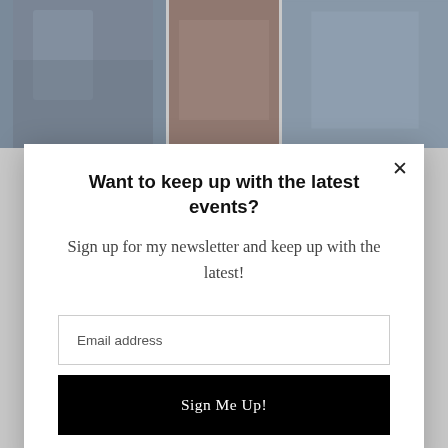[Figure (photo): Three wedding preparation photos showing women helping a bride get ready, partially visible at the top of the page behind a modal overlay]
Want to keep up with the latest events?
Sign up for my newsletter and keep up with the latest!
Email address
Sign Me Up!
And of course, the boys take about 5 minutes to